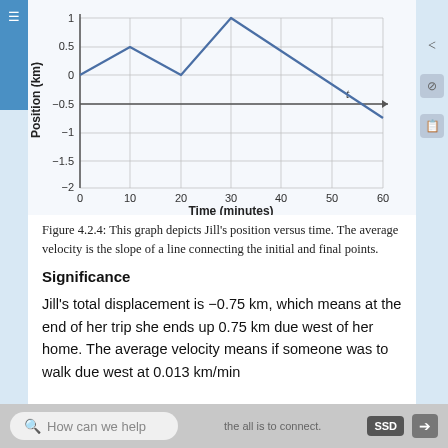[Figure (continuous-plot): Line graph of Jill's position (km) vs time (minutes). The line goes from (0,0) up to about (10,0.5), down to (20,0), up to (30,1), then down steeply to (60,-0.75). Y-axis ranges from -2 to 1, x-axis from 0 to 60.]
Figure 4.2.4: This graph depicts Jill's position versus time. The average velocity is the slope of a line connecting the initial and final points.
Significance
Jill's total displacement is −0.75 km, which means at the end of her trip she ends up 0.75 km due west of her home. The average velocity means if someone was to walk due west at 0.013 km/min